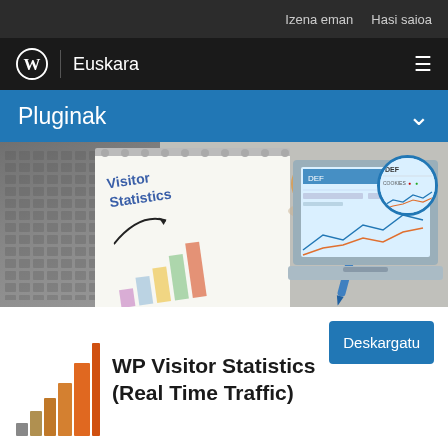Izena eman   Hasi saioa
Euskara
Pluginak
[Figure (photo): Hero banner showing a notebook with 'Visitor Statistics' written in blue handwriting with a bar chart drawing, a keyboard, coffee cup, and a laptop with analytics dashboard on screen]
[Figure (bar-chart): WP Visitor Statistics plugin icon showing ascending bar chart in shades of gray, tan, orange]
WP Visitor Statistics (Real Time Traffic)
Deskargatu